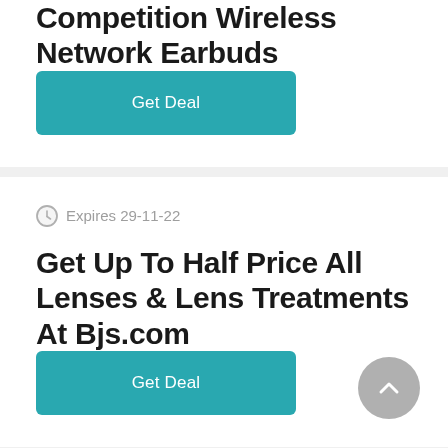Competition Wireless Network Earbuds
Get Deal
Expires 29-11-22
Get Up To Half Price All Lenses & Lens Treatments At Bjs.com
Get Deal